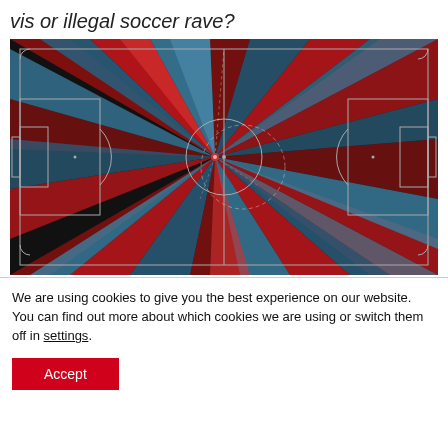vis or illegal soccer rave?
[Figure (infographic): A soccer/football pitch diagram viewed from above with a dark black background. Radiating beams of red and blue/steel-blue colors burst from a central point (approximately center-left of the pitch), creating a starburst or 'rave' light effect. White lines mark the pitch boundaries, penalty areas, goal areas, and center circle. A dashed circle and dashed lines emanate from the focal point. The effect resembles a data visualization of passes or movements converging at one point.]
We are using cookies to give you the best experience on our website.
You can find out more about which cookies we are using or switch them off in settings.
Accept